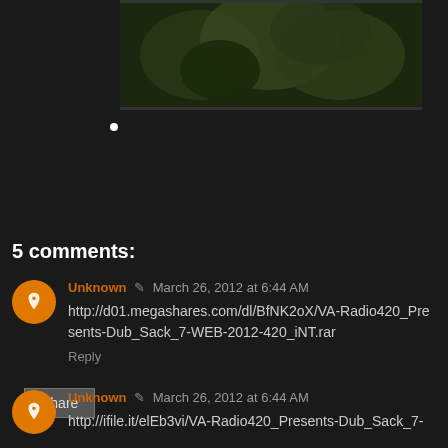[Figure (photo): Photo of green plant material (cannabis) against dark background, partially visible at top of page]
Share
5 comments:
Unknown  March 26, 2012 at 6:44 AM
http://d01.megashares.com/dl/BfNK2oX/VA-Radio420_Presents-Dub_Sack_7-WEB-2012-420_iNT.rar
Reply
Unknown  March 26, 2012 at 6:44 AM
http://ifile.it/elEb3vi/VA-Radio420_Presents-Dub_Sack_7-...